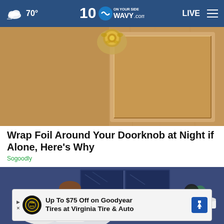70° WAVY.com ON YOUR SIDE LIVE
[Figure (photo): Close-up photo of a wooden door with a decorative gold doorknob/handle at the top, showing wood grain texture and panel details]
Wrap Foil Around Your Doorknob at Night if Alone, Here's Why
Sogoodly
[Figure (illustration): Animated illustration of a person in a bedroom at night with blue tones, with a close X button overlay and an advertisement banner at the bottom reading 'Up To $75 Off on Goodyear Tires at Virginia Tire & Auto']